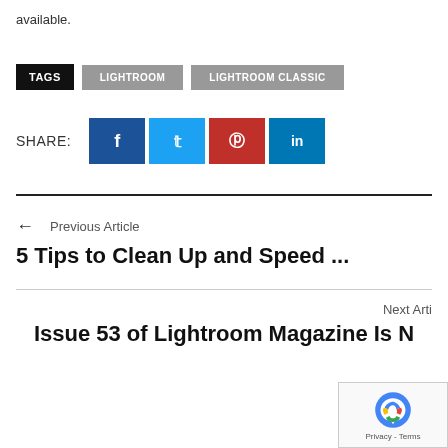available.
TAGS  LIGHTROOM  LIGHTROOM CLASSIC
SHARE:  [Facebook] [Twitter] [Pinterest] [LinkedIn]
← Previous Article
5 Tips to Clean Up and Speed ...
Next Article
Issue 53 of Lightroom Magazine Is N...